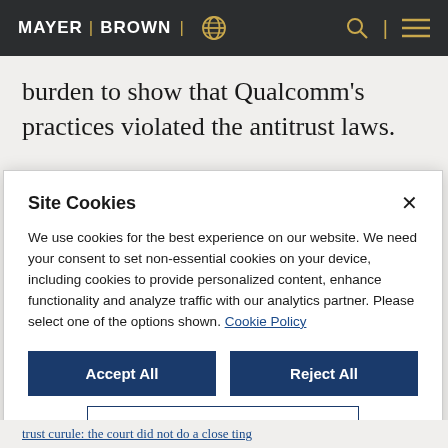MAYER | BROWN
burden to show that Qualcomm's practices violated the antitrust laws.
Site Cookies
We use cookies for the best experience on our website. We need your consent to set non-essential cookies on your device, including cookies to provide personalized content, enhance functionality and analyze traffic with our analytics partner. Please select one of the options shown. Cookie Policy
Accept All
Reject All
Manage Options